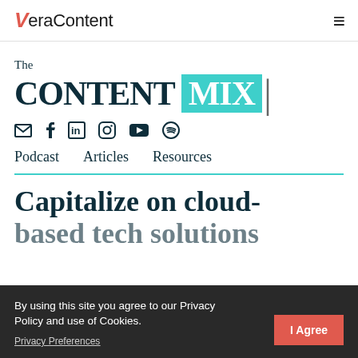VeraContent
[Figure (logo): The Content Mix logo with teal background on MIX word]
[Figure (infographic): Social media icons: email, facebook, linkedin, instagram, youtube, spotify]
Podcast   Articles   Resources
Capitalize on cloud-based tech solutions with Payal Raina, global
By using this site you agree to our Privacy Policy and use of Cookies.
Privacy Preferences
I Agree